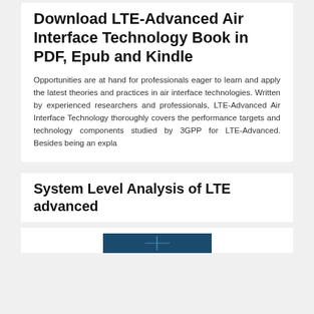Download LTE-Advanced Air Interface Technology Book in PDF, Epub and Kindle
Opportunities are at hand for professionals eager to learn and apply the latest theories and practices in air interface technologies. Written by experienced researchers and professionals, LTE-Advanced Air Interface Technology thoroughly covers the performance targets and technology components studied by 3GPP for LTE-Advanced. Besides being an expla
System Level Analysis of LTE advanced
[Figure (photo): Partial view of a book cover with dark blue/teal background]